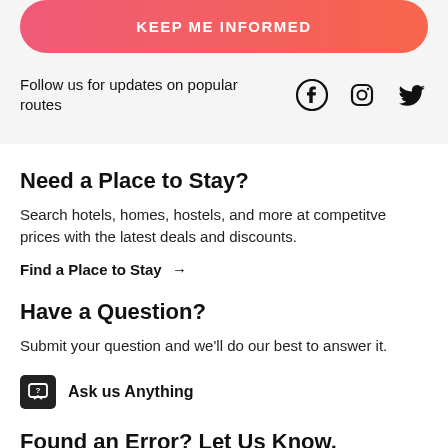KEEP ME INFORMED
Follow us for updates on popular routes
[Figure (other): Facebook, Instagram, and Twitter social media icons]
Need a Place to Stay?
Search hotels, homes, hostels, and more at competitve prices with the latest deals and discounts.
Find a Place to Stay →
Have a Question?
Submit your question and we'll do our best to answer it.
Ask us Anything
Found an Error? Let Us Know.
This includes anything that is incomplete, out-of-date,